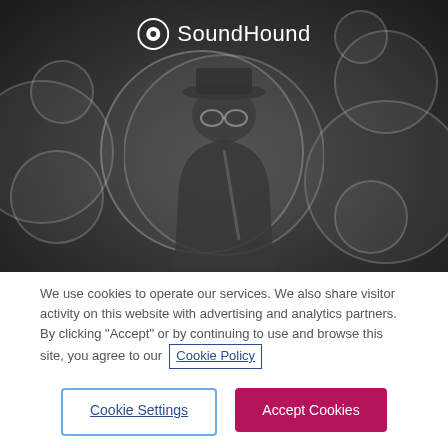[Figure (screenshot): SoundHound app screenshot with dark background, bubble circle decorations, and person silhouette wearing a hat. SoundHound logo at the top.]
We use cookies to operate our services. We also share visitor activity on this website with advertising and analytics partners. By clicking "Accept" or by continuing to use and browse this site, you agree to our Cookie Policy
Cookie Settings
Accept Cookies